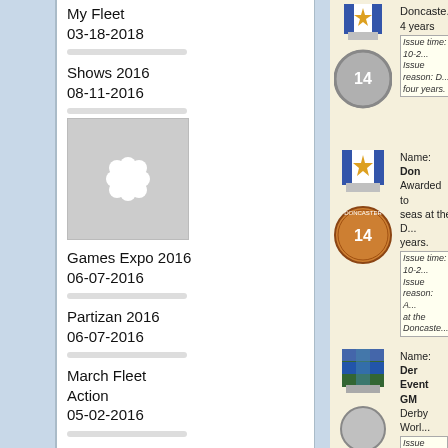My Fleet
03-18-2018
Shows 2016
08-11-2016
[Figure (photo): Placeholder thumbnail with flower/snowflake icon]
Games Expo 2016
06-07-2016
Partizan 2016
06-07-2016
March Fleet Action
05-02-2016
Letters of Marque April
04-24-2016
Triples 2016
03-25-2016
WMSS 2016
[Figure (photo): Doncaster medal with blue/white ribbon and gold star, silver medal with '14', for 4 years service]
4 years
Issue time: 10-2... Issue reason: D... four years.
[Figure (photo): Doncaster medal with blue ribbon and gold star, bronze medal with '14']
Name: Don Awarded to seas at the D... years.
Issue time: 10-2... Issue reason: A... at the Doncaste...
[Figure (photo): Derby World Event GM medal with green/blue cross ribbon]
Name: Der Event GM Derby Worl...
Issue time: 09-2... Issue reason: D...